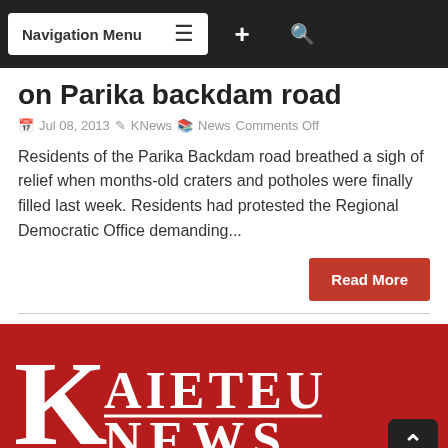Navigation Menu
on Parika backdam road
Jul 08, 2013  KNews  News Comments Off
Residents of the Parika Backdam road breathed a sigh of relief when months-old craters and potholes were finally filled last week. Residents had protested the Regional Democratic Office demanding...
Read More
[Figure (logo): Kaieteur News logo — white serif text on dark red background]